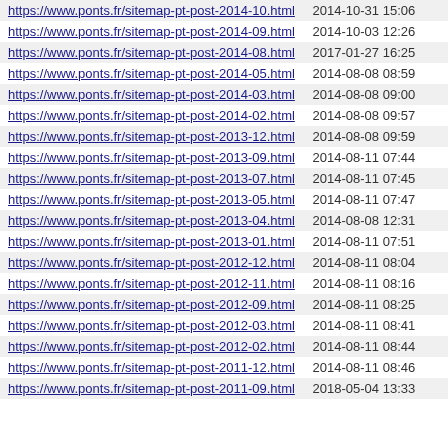| URL | Date |
| --- | --- |
| https://www.ponts.fr/sitemap-pt-post-2014-10.html | 2014-10-31 15:06 |
| https://www.ponts.fr/sitemap-pt-post-2014-09.html | 2014-10-03 12:26 |
| https://www.ponts.fr/sitemap-pt-post-2014-08.html | 2017-01-27 16:25 |
| https://www.ponts.fr/sitemap-pt-post-2014-05.html | 2014-08-08 08:59 |
| https://www.ponts.fr/sitemap-pt-post-2014-03.html | 2014-08-08 09:00 |
| https://www.ponts.fr/sitemap-pt-post-2014-02.html | 2014-08-08 09:57 |
| https://www.ponts.fr/sitemap-pt-post-2013-12.html | 2014-08-08 09:59 |
| https://www.ponts.fr/sitemap-pt-post-2013-09.html | 2014-08-11 07:44 |
| https://www.ponts.fr/sitemap-pt-post-2013-07.html | 2014-08-11 07:45 |
| https://www.ponts.fr/sitemap-pt-post-2013-05.html | 2014-08-11 07:47 |
| https://www.ponts.fr/sitemap-pt-post-2013-04.html | 2014-08-08 12:31 |
| https://www.ponts.fr/sitemap-pt-post-2013-01.html | 2014-08-11 07:51 |
| https://www.ponts.fr/sitemap-pt-post-2012-12.html | 2014-08-11 08:04 |
| https://www.ponts.fr/sitemap-pt-post-2012-11.html | 2014-08-11 08:16 |
| https://www.ponts.fr/sitemap-pt-post-2012-09.html | 2014-08-11 08:25 |
| https://www.ponts.fr/sitemap-pt-post-2012-03.html | 2014-08-11 08:41 |
| https://www.ponts.fr/sitemap-pt-post-2012-02.html | 2014-08-11 08:44 |
| https://www.ponts.fr/sitemap-pt-post-2011-12.html | 2014-08-11 08:46 |
| https://www.ponts.fr/sitemap-pt-post-2011-09.html | 2018-05-04 13:33 |